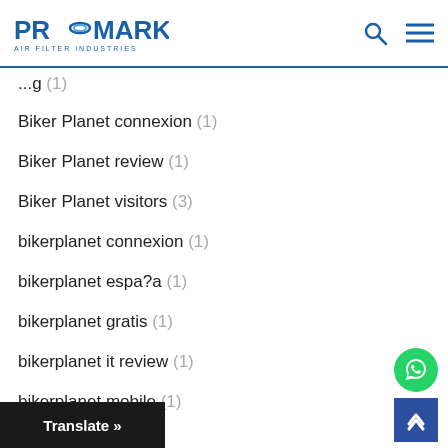PROMARK AIR FILTER INDUSTRIES
(1)
Biker Planet connexion (1)
Biker Planet review (1)
Biker Planet visitors (3)
bikerplanet connexion (1)
bikerplanet espa?a (1)
bikerplanet gratis (1)
bikerplanet it review (1)
bikerplanet mobile (1)
b... meldung (1)